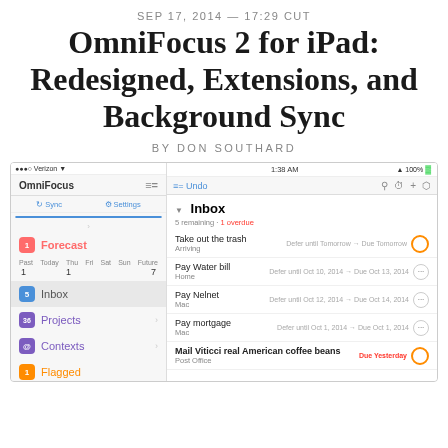SEP 17, 2014 — 17:29 CUT
OmniFocus 2 for iPad: Redesigned, Extensions, and Background Sync
BY DON SOUTHARD
[Figure (screenshot): Screenshot of OmniFocus 2 for iPad showing left sidebar with Forecast, Inbox, Projects, Contexts, Flagged items, and right panel showing Inbox with tasks including Take out the trash, Pay Water bill, Pay Nelnet, Pay mortgage, Mail Viticci real American coffee beans]